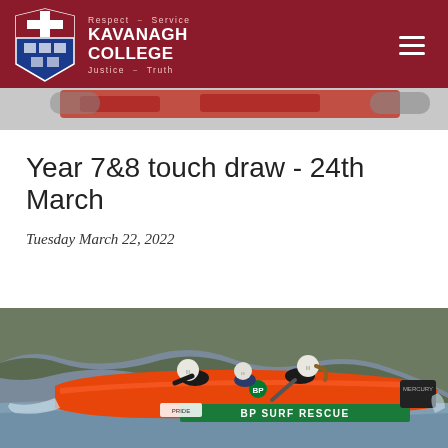Kavanagh College — Respect · Service · Justice · Truth
Year 7&8 touch draw - 24th March
Tuesday March 22, 2022
[Figure (photo): Three people in wetsuits and helmets riding an orange BP Surf Rescue inflatable boat at speed through water with rocky cliffs in background]